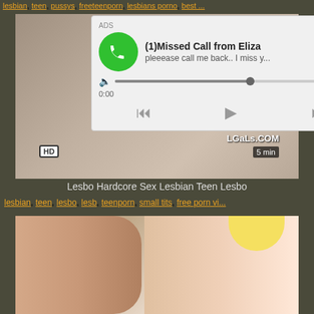lesbian, teen, pussys, freeteenporn, lesbians porno, best ...
[Figure (photo): Video thumbnail showing adult content with HD badge, LGaLs.COM watermark, 5 min duration]
[Figure (screenshot): Ad overlay: missed call notification from Eliza with audio player controls showing 0:00 to 3:23]
Lesbo Hardcore Sex Lesbian Teen Lesbo
lesbian, teen, lesbo, lesb, teenporn, small tits, free porn vi...
[Figure (photo): Second video thumbnail showing adult content with blonde person]